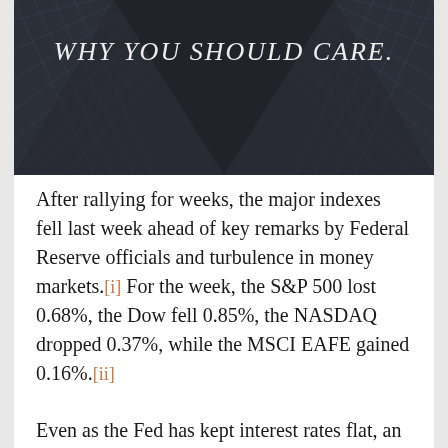[Figure (photo): Dark architectural photo of a geometric glass building structure with diamond/grid pattern, with italic white text overlay reading 'WHY YOU SHOULD CARE.']
After rallying for weeks, the major indexes fell last week ahead of key remarks by Federal Reserve officials and turbulence in money markets.[i] For the week, the S&P 500 lost 0.68%, the Dow fell 0.85%, the NASDAQ dropped 0.37%, while the MSCI EAFE gained 0.16%.[ii]
Even as the Fed has kept interest rates flat, an unexpected surge in short-term